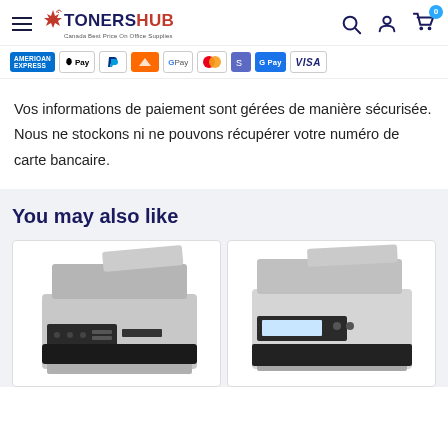TONERSHUB — Canada Best Price On Office Supplies
[Figure (screenshot): Payment method icons strip: American Express, Apple Pay, PayPal, an orange icon, Google Pay, Mastercard, Shopify Pay, G Pay, Visa]
Vos informations de paiement sont gérées de manière sécurisée. Nous ne stockons ni ne pouvons récupérer votre numéro de carte bancaire.
You may also like
[Figure (photo): Two product cards showing multifunction printers/all-in-one office machines (Brother brand printers), displayed side by side on a light gray background.]